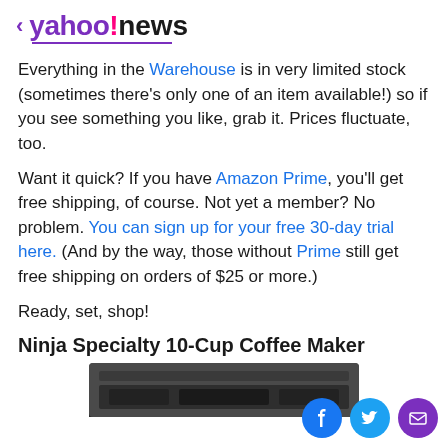< yahoo!news
Everything in the Warehouse is in very limited stock (sometimes there's only one of an item available!) so if you see something you like, grab it. Prices fluctuate, too.
Want it quick? If you have Amazon Prime, you'll get free shipping, of course. Not yet a member? No problem. You can sign up for your free 30-day trial here. (And by the way, those without Prime still get free shipping on orders of $25 or more.)
Ready, set, shop!
Ninja Specialty 10-Cup Coffee Maker
[Figure (photo): Partial image of Ninja Specialty 10-Cup Coffee Maker (cropped at bottom of page)]